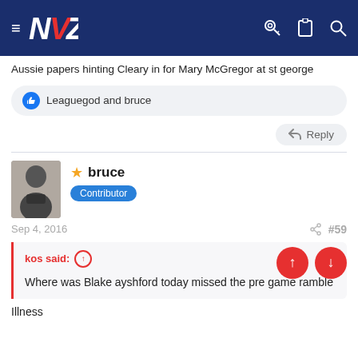NVZ forum header with navigation icons
Aussie papers hinting Cleary in for Mary McGregor at st george
Leaguegod and bruce
Reply
bruce
Contributor
Sep 4, 2016
#59
kos said:
Where was Blake ayshford today missed the pre game ramble
Illness